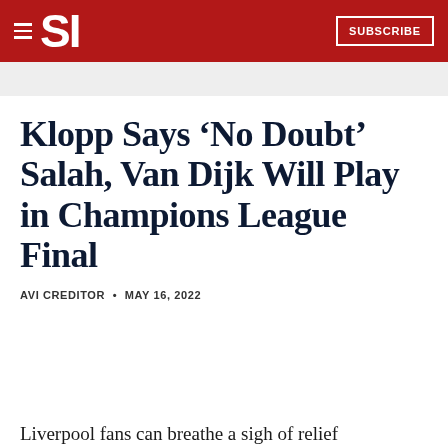SI SUBSCRIBE
Klopp Says ‘No Doubt’ Salah, Van Dijk Will Play in Champions League Final
AVI CREDITOR • MAY 16, 2022
Liverpool fans can breathe a sigh of relief